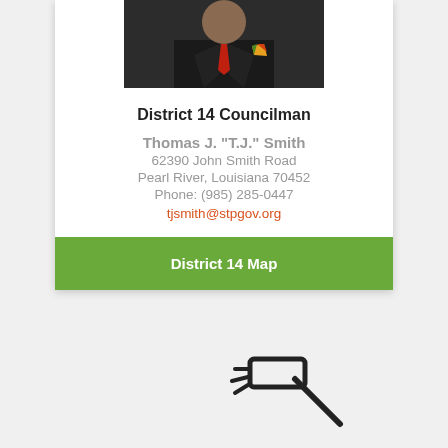[Figure (photo): Portrait photo of man in dark suit with colorful pocket square]
District 14 Councilman
Thomas J. "T.J." Smith
62390 John Smith Road
Pearl River, Louisiana 70452
Phone: (985) 285-0447
tjsmith@stpgov.org
District 14 Map
[Figure (illustration): Gavel or hammer icon outline at bottom of page]